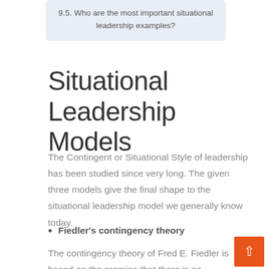9.5. Who are the most important situational leadership examples?
Situational Leadership Models
The Contingent or Situational Style of leadership has been studied since very long. The given three models give the final shape to the situational leadership model we generally know today.
Fiedler's contingency theory
The contingency theory of Fred E. Fiedler is based on the premise that there is no